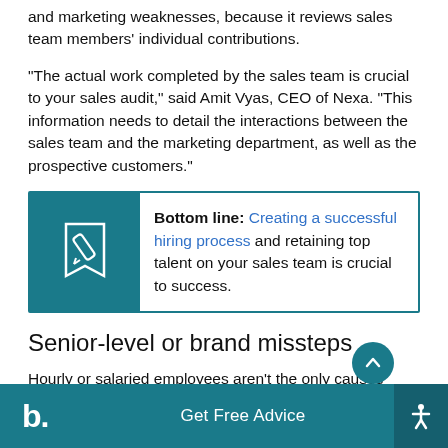and marketing weaknesses, because it reviews sales team members' individual contributions.
“The actual work completed by the sales team is crucial to your sales audit,” said Amit Vyas, CEO of Nexa. “This information needs to detail the interactions between the sales team and the marketing department, as well as the prospective customers.”
[Figure (infographic): Bottom line callout box with pencil icon on teal background. Text reads: Bottom line: Creating a successful hiring process and retaining top talent on your sales team is crucial to success.]
Senior-level or brand missteps
Hourly or salaried employees aren’t the only causes
b. Get Free Advice